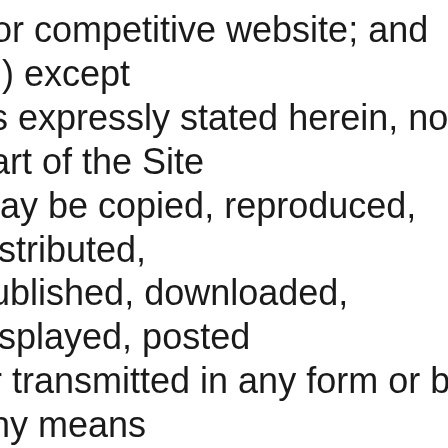r or competitive website; and (d) except as expressly stated herein, no part of the Site may be copied, reproduced, distributed, published, downloaded, displayed, posted or transmitted in any form or by any means unless otherwise indicated, any future release, update, or other addition to functionality of the Site shall be subject to these Terms.  All copyright and other proprietary notices on the Site must be retained on all copies thereof.

any reserves the right to change